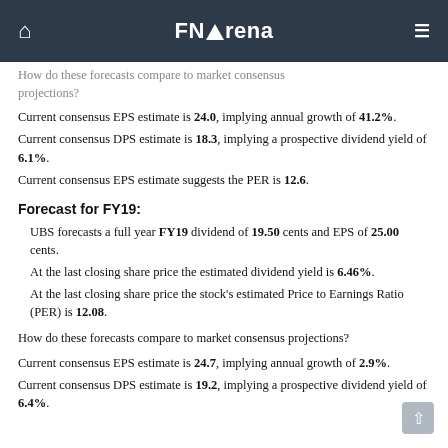FNArena
How do these forecasts compare to market consensus projections?
Current consensus EPS estimate is 24.0, implying annual growth of 41.2%.
Current consensus DPS estimate is 18.3, implying a prospective dividend yield of 6.1%.
Current consensus EPS estimate suggests the PER is 12.6.
Forecast for FY19:
UBS forecasts a full year FY19 dividend of 19.50 cents and EPS of 25.00 cents.
At the last closing share price the estimated dividend yield is 6.46%.
At the last closing share price the stock's estimated Price to Earnings Ratio (PER) is 12.08.
How do these forecasts compare to market consensus projections?
Current consensus EPS estimate is 24.7, implying annual growth of 2.9%.
Current consensus DPS estimate is 19.2, implying a prospective dividend yield of 6.4%.